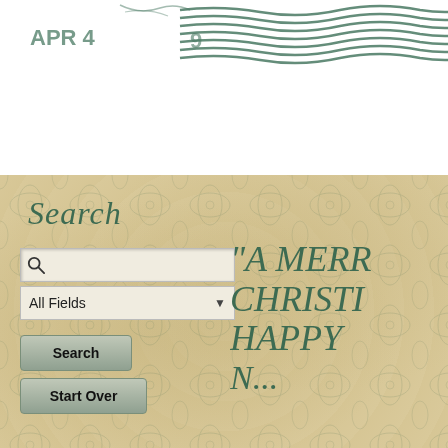[Figure (illustration): Postmark stamp area at top with wavy cancellation lines and partial text 'APR 4' and '9' visible in green/teal ink on white background]
[Figure (illustration): Beige/tan textured background with damask pattern for the lower section of a Christmas card archive search interface]
Search
[Figure (screenshot): Search interface with search input field containing magnifying glass icon, 'All Fields' dropdown selector, 'Search' button, and 'Start Over' button]
"A MERR CHRISTI HAPPY